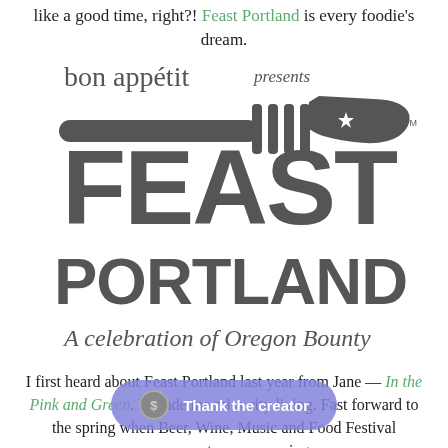like a good time, right?! Feast Portland is every foodie's dream.
[Figure (logo): Bon Appétit presents Feast Portland — A celebration of Oregon Bounty logo with fork and Oregon state shape]
I first heard about Feast Portland last year from Jane — In the Pink and Green. It made me miss city living. Fast forward to the spring when Beer, Wine, Music and Food Festival announcements were popping up